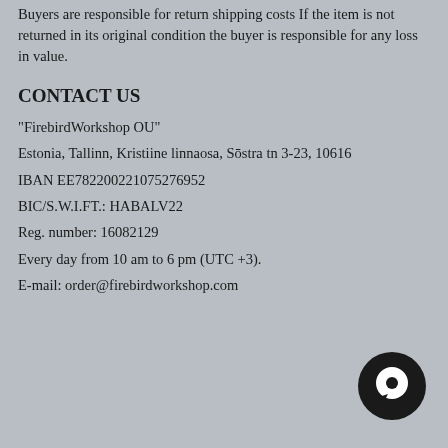Buyers are responsible for return shipping costs If the item is not returned in its original condition the buyer is responsible for any loss in value.
CONTACT US
"FirebirdWorkshop OU"
Estonia, Tallinn, Kristiine linnaosa, Sōstra tn 3-23, 10616
IBAN EE782200221075276952
BIC/S.W.I.FT.: HABALV22
Reg. number: 16082129
Every day from 10 am to 6 pm (UTC +3).
E-mail: order@firebirdworkshop.com
[Figure (illustration): Black circular chat bubble icon in bottom right corner]